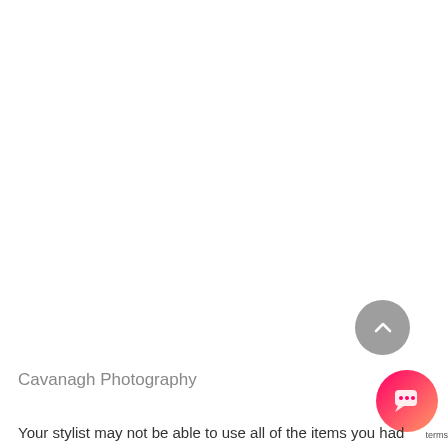[Figure (other): Scroll-to-top button: gray circle with white upward chevron arrow]
Cavanagh Photography
[Figure (other): Chat button: pink/red gradient circle with white speech bubble icon]
terms
Your stylist may not be able to use all of the items you had